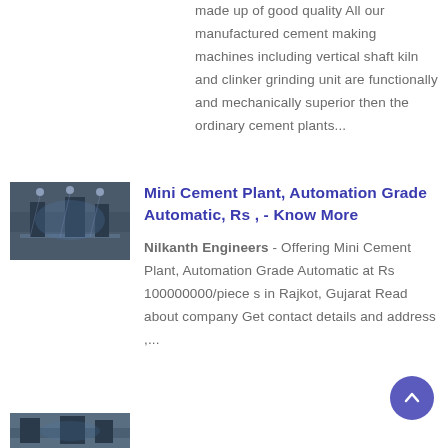made up of good quality All our manufactured cement making machines including vertical shaft kiln and clinker grinding unit are functionally and mechanically superior then the ordinary cement plants...
[Figure (photo): Thumbnail photo of a mini cement plant interior showing industrial machinery and blue lighting]
Mini Cement Plant, Automation Grade Automatic, Rs , - Know More
Nilkanth Engineers - Offering Mini Cement Plant, Automation Grade Automatic at Rs 100000000/piece s in Rajkot, Gujarat Read about company Get contact details and address ,...
[Figure (photo): Thumbnail photo at bottom of page, partially visible]